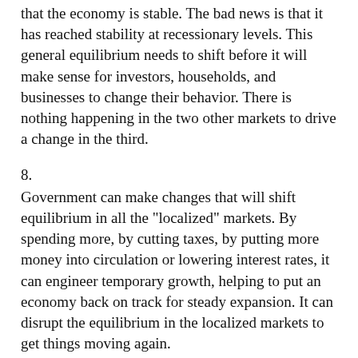that the economy is stable. The bad news is that it has reached stability at recessionary levels. This general equilibrium needs to shift before it will make sense for investors, households, and businesses to change their behavior. There is nothing happening in the two other markets to drive a change in the third.
8.
Government can make changes that will shift equilibrium in all the "localized" markets. By spending more, by cutting taxes, by putting more money into circulation or lowering interest rates, it can engineer temporary growth, helping to put an economy back on track for steady expansion. It can disrupt the equilibrium in the localized markets to get things moving again.
Valid rebuttals to Keynesian economics include criticism about a governments' ability to time stimulus, the level of downturn deserving of Keynesian stimulus, and the degree to which a Keynesian style intervention needs to be coordinated with other countries to be effective. You could even argue about whether expectations might mitigate the